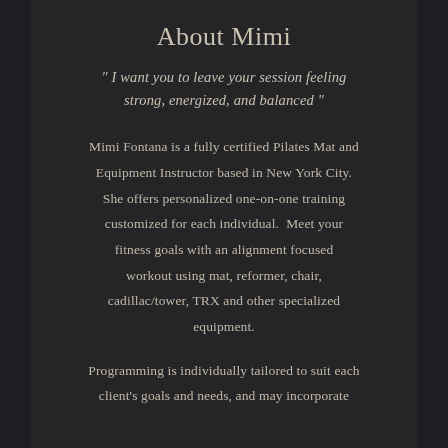About Mimi
" I want you to leave your session feeling strong, energized, and balanced "
Mimi Fontana is a fully certified Pilates Mat and Equipment Instructor based in New York City. She offers personalized one-on-one training customized for each individual.  Meet your fitness goals with an alignment focused workout using mat, reformer, chair, cadillac/tower, TRX and other specialized equipment.
Programming is individually tailored to suit each client's goals and needs, and may incorporate